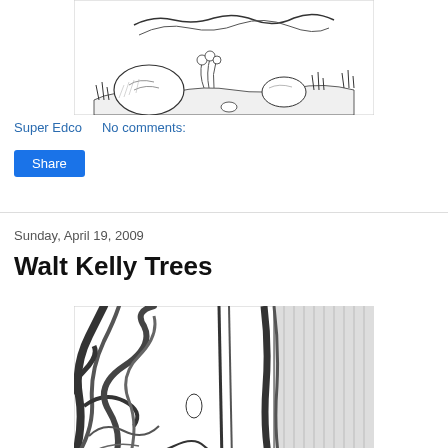[Figure (illustration): Black and white pen sketch of a nature scene with rocks, plants, and grass]
Super Edco    No comments:
Share
Sunday, April 19, 2009
Walt Kelly Trees
[Figure (illustration): Black and white pen sketch of a forest scene with swirling tree trunks and roots]